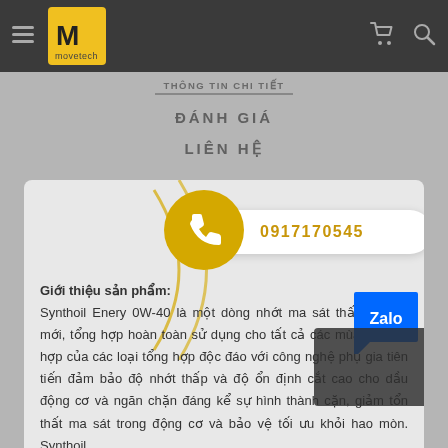Movetech logo navigation bar with hamburger menu, cart and search icons
THÔNG TIN CHI TIẾT
ĐÁNH GIÁ
LIÊN HỆ
0917170545
Giới thiệu sản phẩm:
Synthoil Enery 0W-40 là một dòng nhớt ma sát thấp thế hệ mới, tổng hợp hoàn toàn sử dụng cho tất cả các mùa. Sự kết hợp của các loại tổng hợp độc đáo với công nghệ phụ gia tiên tiến đảm bảo độ nhớt thấp và độ ổn định cắt cao cho dầu động cơ và ngăn chặn đáng kể sự hình thành cặn, giảm tổn thất ma sát trong động cơ và bảo vệ tối ưu khỏi hao mòn. Synthoil